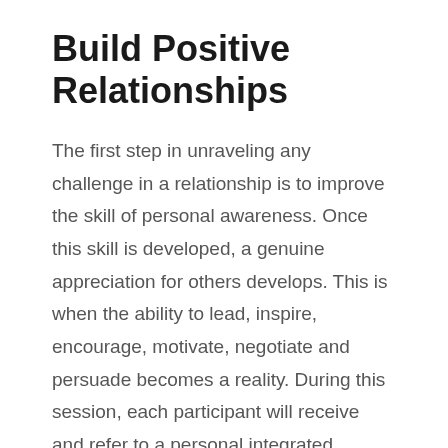Build Positive Relationships
The first step in unraveling any challenge in a relationship is to improve the skill of personal awareness. Once this skill is developed, a genuine appreciation for others develops. This is when the ability to lead, inspire, encourage, motivate, negotiate and persuade becomes a reality. During this session, each participant will receive and refer to a personal integrated behavior-motivator assessment and take part in group discussions and exercises to improve interpersonal communication. Once insight on how and why their own style of communication varies among specific people in various situations,